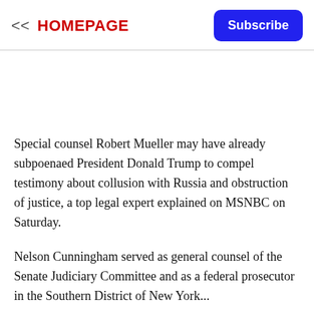<< HOMEPAGE
Special counsel Robert Mueller may have already subpoenaed President Donald Trump to compel testimony about collusion with Russia and obstruction of justice, a top legal expert explained on MSNBC on Saturday.
Nelson Cunningham served as general counsel of the Senate Judiciary Committee and as a federal prosecutor in the Southern District of New York...